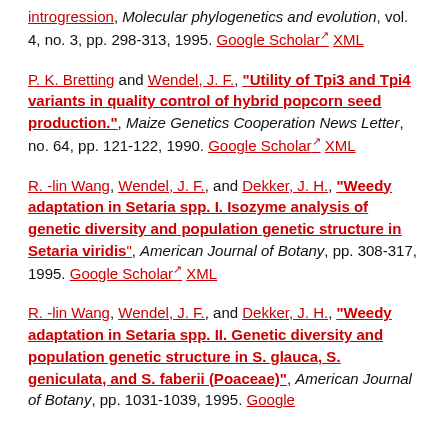introgression", Molecular phylogenetics and evolution, vol. 4, no. 3, pp. 298-313, 1995. Google Scholar XML
P. K. Bretting and Wendel, J. F., "Utility of Tpi3 and Tpi4 variants in quality control of hybrid popcorn seed production.", Maize Genetics Cooperation News Letter, no. 64, pp. 121-122, 1990. Google Scholar XML
R. -lin Wang, Wendel, J. F., and Dekker, J. H., "Weedy adaptation in Setaria spp. I. Isozyme analysis of genetic diversity and population genetic structure in Setaria viridis", American Journal of Botany, pp. 308-317, 1995. Google Scholar XML
R. -lin Wang, Wendel, J. F., and Dekker, J. H., "Weedy adaptation in Setaria spp. II. Genetic diversity and population genetic structure in S. glauca, S. geniculata, and S. faberii (Poaceae)", American Journal of Botany, pp. 1031-1039, 1995. Google